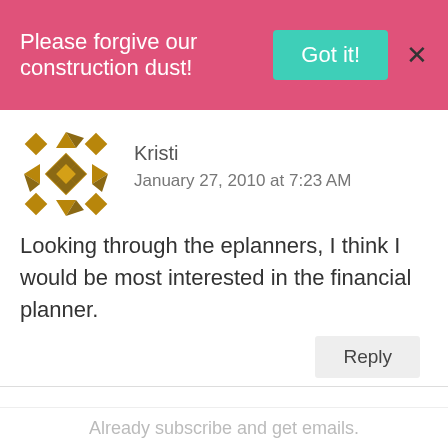Please forgive our construction dust!  Got it!  X
Kristi
January 27, 2010 at 7:23 AM
Looking through the eplanners, I think I would be most interested in the financial planner.
Reply
Kristi
January 27, 2010 at 7:23 AM
Already subscribe and get emails.